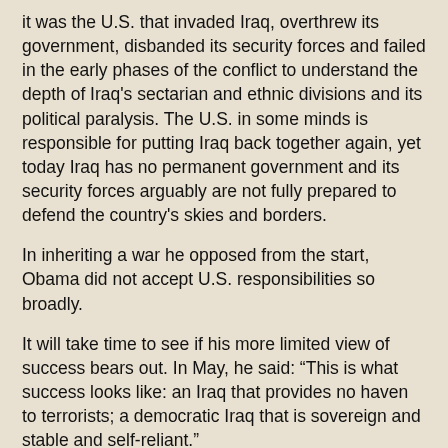it was the U.S. that invaded Iraq, overthrew its government, disbanded its security forces and failed in the early phases of the conflict to understand the depth of Iraq's sectarian and ethnic divisions and its political paralysis. The U.S. in some minds is responsible for putting Iraq back together again, yet today Iraq has no permanent government and its security forces arguably are not fully prepared to defend the country's skies and borders.
In inheriting a war he opposed from the start, Obama did not accept U.S. responsibilities so broadly.
It will take time to see if his more limited view of success bears out. In May, he said: “This is what success looks like: an Iraq that provides no haven to terrorists; a democratic Iraq that is sovereign and stable and self-reliant.”
Al-Qaida terrorists are “not gone” from Iraq, Defense Secretary Robert Gates said Tuesday. But he hailed “an important victory against transnational terror” because “al-Qaida in Iraq has been largely cut from its masters abroad.”